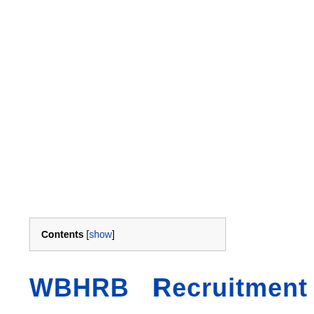Contents [show]
WBHRB  Recruitment  2019  |